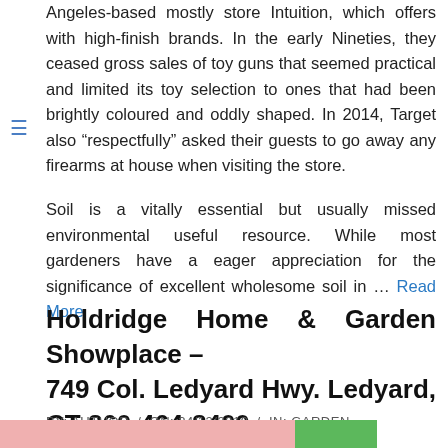Angeles-based mostly store Intuition, which offers with high-finish brands. In the early Nineties, they ceased gross sales of toy guns that seemed practical and limited its toy selection to ones that had been brightly coloured and oddly shaped. In 2014, Target also “respectfully” asked their guests to go away any firearms at house when visiting the store.
Soil is a vitally essential but usually missed environmental useful resource. While most gardeners have a eager appreciation for the significance of excellent wholesome soil in … Read More
Holdridge Home & Garden Showplace – 749 Col. Ledyard Hwy. Ledyard, CT 860-464-8400
BY: AUTHOR / ON: 24/12/2019 / IN: GARDEN